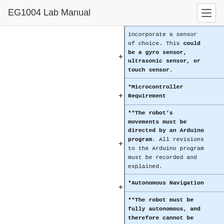EG1004 Lab Manual
incorporate a sensor of choice. This could be a gyro sensor, ultrasonic sensor, or touch sensor.
*Microcontroller Requirement
**The robot’s movements must be directed by an Arduino program. All revisions to the Arduino program must be recorded and explained.
*Autonomous Navigation
**The robot must be fully autonomous, and therefore cannot be